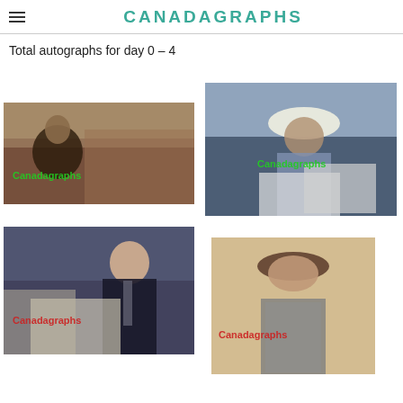CANADAGRAPHS
Total autographs for day 0 – 4
[Figure (photo): Person signing autographs at a public event, crowd in background. Green Canadagraphs watermark.]
[Figure (photo): Person in hat signing autographs, holding photos. Green Canadagraphs watermark.]
[Figure (photo): Bald man in suit signing autographs for fans. Red Canadagraphs watermark.]
[Figure (photo): Young man in grey t-shirt and baseball cap posing. Red Canadagraphs watermark.]